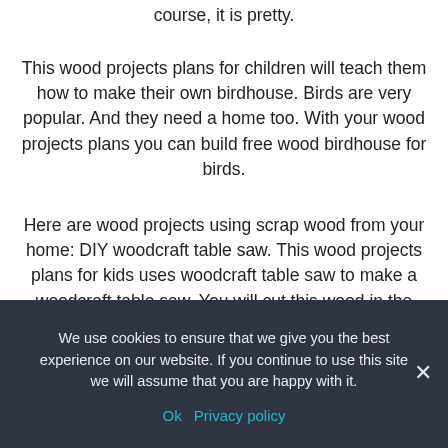course, it is pretty.
This wood projects plans for children will teach them how to make their own birdhouse. Birds are very popular. And they need a home too. With your wood projects plans you can build free wood birdhouse for birds.
Here are wood projects using scrap wood from your home: DIY woodcraft table saw. This wood projects plans for kids uses woodcraft table saw to make a woodcraft table saw. You will cut this wood in the shape of a table saw. It is much cheaper than buying a wood table saw. You will also get to make this woodcraft table saw at your own choice of wood
We use cookies to ensure that we give you the best experience on our website. If you continue to use this site we will assume that you are happy with it.
Ok   Privacy policy